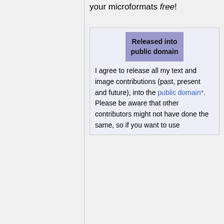your microformats free!
| Released into public domain |
| --- |
| I agree to release all my text and image contributions (past, present and future), into the public domain*. Please be aware that other contributors might not have done the same, so if you want to use |
I agree to release all my text and image contributions (past, present and future), into the public domain*. Please be aware that other contributors might not have done the same, so if you want to use